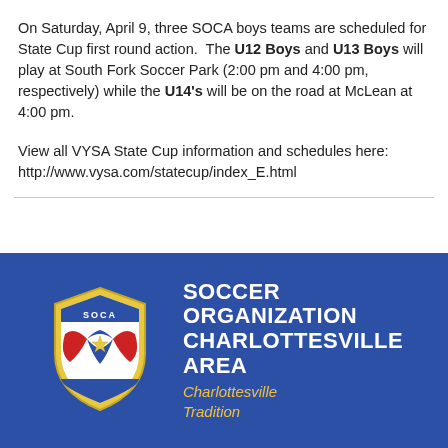On Saturday, April 9, three SOCA boys teams are scheduled for State Cup first round action.  The U12 Boys and U13 Boys will play at South Fork Soccer Park (2:00 pm and 4:00 pm, respectively) while the U14's will be on the road at McLean at 4:00 pm.
View all VYSA State Cup information and schedules here: http://www.vysa.com/statecup/index_E.html
[Figure (logo): SOCA shield logo with red, white, blue colors and star, alongside text 'SOCCER ORGANIZATION CHARLOTTESVILLE AREA' and italic tagline 'Charlottesville Tradition' on a blue background]